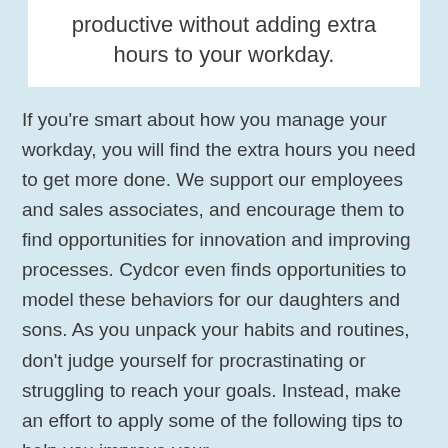productive without adding extra hours to your workday.
If you're smart about how you manage your workday, you will find the extra hours you need to get more done. We support our employees and sales associates, and encourage them to find opportunities for innovation and improving processes. Cydcor even finds opportunities to model these behaviors for our daughters and sons. As you unpack your habits and routines, don't judge yourself for procrastinating or struggling to reach your goals. Instead, make an effort to apply some of the following tips to help you improve your